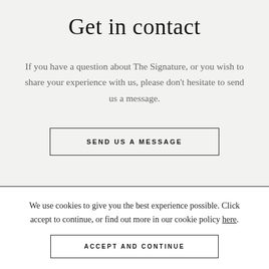Get in contact
If you have a question about The Signature, or you wish to share your experience with us, please don't hesitate to send us a message.
SEND US A MESSAGE
[Figure (other): Partial dark footer with golden/amber serif logo text partially visible]
We use cookies to give you the best experience possible. Click accept to continue, or find out more in our cookie policy here.
ACCEPT AND CONTINUE